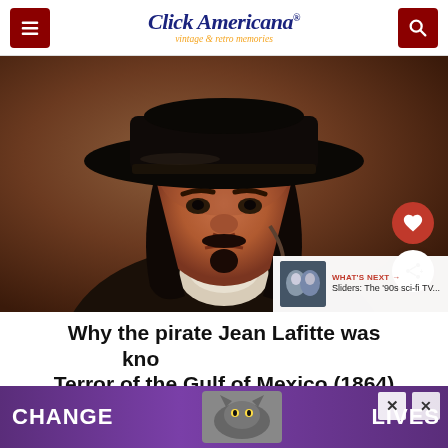Click Americana — vintage & retro memories
[Figure (illustration): Portrait painting of Jean Lafitte, a pirate wearing a wide-brimmed black hat, with long dark hair, a goatee/mustache, stern expression, wearing a white shirt, painted in a classic portrait style with warm brown tones.]
Why the pirate Jean Lafitte was known as the Terror of the Gulf of Mexico (1864)
[Figure (screenshot): Advertisement banner reading CHANGE LIVES with images of cats, on a purple background. Overlay shows WHAT'S NEXT arrow — Sliders: The '90s sci-fi TV...]